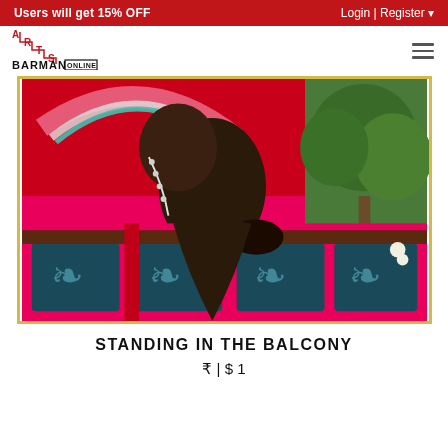Users will get 15% OFF | Login | Register
[Figure (logo): Arts Barman Online logo with staircase letterform and BARMAN ONLINE text]
[Figure (photo): Cropped artwork showing a person standing in a balcony, colorful Indian art style with red, teal, and decorative patterns]
STANDING IN THE BALCONY
₹ | $ 1